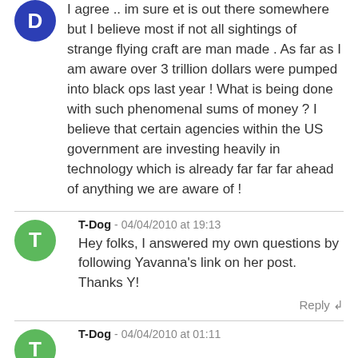[Figure (illustration): Blue circular avatar with letter D]
I agree .. im sure et is out there somewhere but I believe most if not all sightings of strange flying craft are man made . As far as I am aware over 3 trillion dollars were pumped into black ops last year ! What is being done with such phenomenal sums of money ? I believe that certain agencies within the US government are investing heavily in technology which is already far far far ahead of anything we are aware of !
[Figure (illustration): Green circular avatar with letter T]
T-Dog - 04/04/2010 at 19:13
Hey folks, I answered my own questions by following Yavanna's link on her post. Thanks Y!
Reply
[Figure (illustration): Green circular avatar with letter T (partially visible)]
T-Dog - 04/04/2010 at 01:11